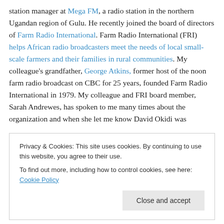station manager at Mega FM, a radio station in the northern Ugandan region of Gulu. He recently joined the board of directors of Farm Radio International. Farm Radio International (FRI) helps African radio broadcasters meet the needs of local small-scale farmers and their families in rural communities. My colleague's grandfather, George Atkins, former host of the noon farm radio broadcast on CBC for 25 years, founded Farm Radio International in 1979. My colleague and FRI board member, Sarah Andrewes, has spoken to me many times about the organization and when she let me know David Okidi was
Privacy & Cookies: This site uses cookies. By continuing to use this website, you agree to their use. To find out more, including how to control cookies, see here: Cookie Policy